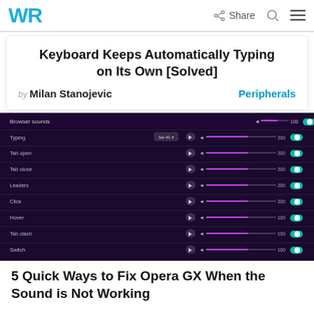WR | Share
Keyboard Keeps Automatically Typing on Its Own [Solved]
by Milan Stanojevic   Peripherals
[Figure (screenshot): Opera GX browser sounds settings panel showing toggles and volume sliders for Browser sounds, Typing, Tab open, Tab close, Leaders, Click, Hover, Tab clash, Switch — dark purple background with teal toggle switches]
5 Quick Ways to Fix Opera GX When the Sound is Not Working